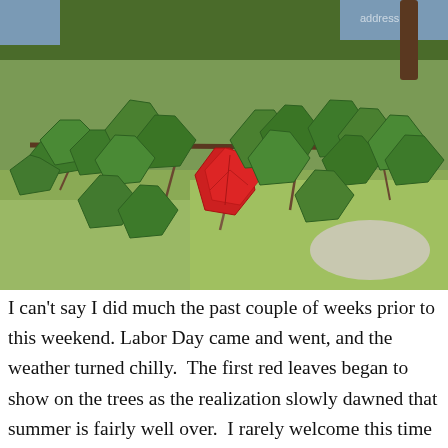[Figure (photo): Close-up photograph of maple tree branches with large green leaves hanging down. One single red/scarlet leaf stands out prominently among the green leaves in the center of the image. Background shows green grass lawn and more trees out of focus.]
I can't say I did much the past couple of weeks prior to this weekend. Labor Day came and went, and the weather turned chilly.  The first red leaves began to show on the trees as the realization slowly dawned that summer is fairly well over.  I rarely welcome this time of year because